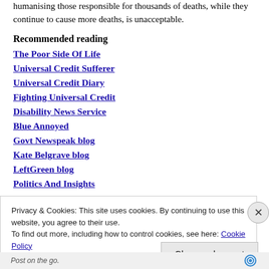humanising those responsible for thousands of deaths, while they continue to cause more deaths, is unacceptable.
Recommended reading
The Poor Side Of Life
Universal Credit Sufferer
Universal Credit Diary
Fighting Universal Credit
Disability News Service
Blue Annoyed
Govt Newspeak blog
Kate Belgrave blog
LeftGreen blog
Politics And Insights
Privacy & Cookies: This site uses cookies. By continuing to use this website, you agree to their use. To find out more, including how to control cookies, see here: Cookie Policy
Close and accept
Post on the go.